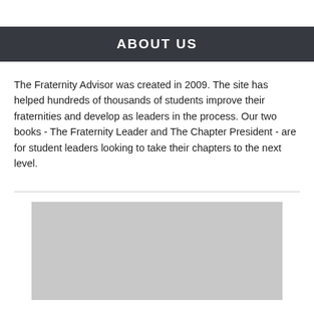ABOUT US
The Fraternity Advisor was created in 2009. The site has helped hundreds of thousands of students improve their fraternities and develop as leaders in the process. Our two books - The Fraternity Leader and The Chapter President - are for student leaders looking to take their chapters to the next level.
[Figure (photo): Gray placeholder image block]